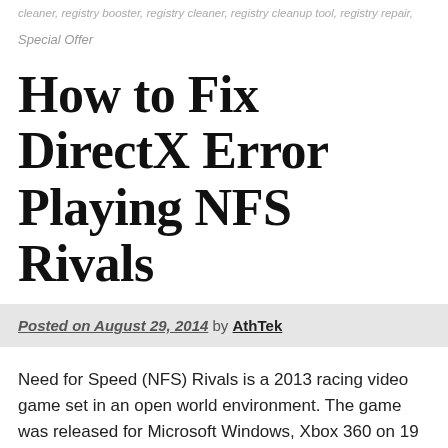cleaner, registry booster, registry cleaner, registry cleanup tool, registry repair,
Special Offer
How to Fix DirectX Error Playing NFS Rivals
Posted on August 29, 2014 by AthTek
Need for Speed (NFS) Rivals is a 2013 racing video game set in an open world environment. The game was released for Microsoft Windows, Xbox 360 on 19 November 2013. Most of time, NFS Rivals does not have any problem on an up-to-date computer. But sometimes, you may get a DirectX error on you screen when you start NFS Rivals. Unless you get the DirectX error fixed, you won't enjoy a happy time by playing NFS Rivals. DirectX errors can be fixed by updating the RAM or graphics... fatal DirectX error, you have to find another way to solve th...